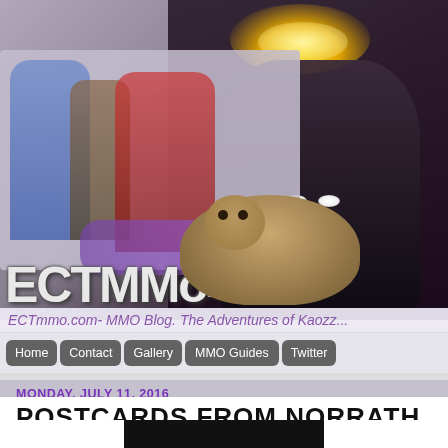[Figure (screenshot): ECTmmo.com website banner showing fantasy game characters on left in a light grey box, a dark elf/night elf character with glowing crown on the right against dark background, and a pug dog in the center]
ECTmmo.com- MMO Blog. The Adventures of Kaozz...
Home | Contact | Gallery | MMO Guides | Twitter
MONDAY, JULY 11, 2016
POSTCARDS FROM NORRATH
[Figure (screenshot): Bottom portion of a dark game screenshot, partially visible]